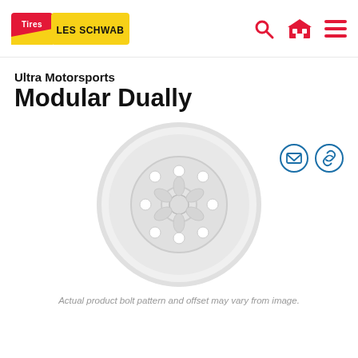Les Schwab Tires
Ultra Motorsports
Modular Dually
[Figure (photo): White modular dually wheel viewed from the front, showing 8 lug holes and decorative slots, on a white background]
Actual product bolt pattern and offset may vary from image.